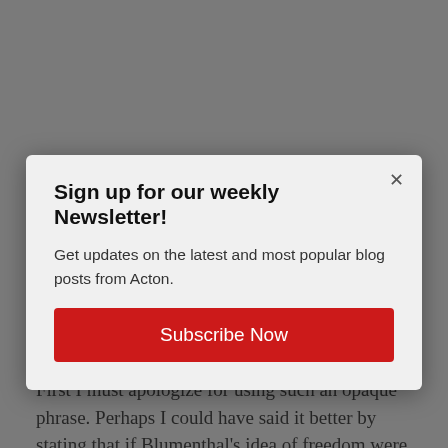He states that my response “basically proves” his point re: clerical authoritarianism. He then goes on to ask what I mean by “theological relatives.”
First I must apologize for using such an opaque phrase. Perhaps I could have said it better by stating that if Blumenthal’s idea of freedom were translated into theological terms, it would be a sort of antinomianism, a
[Figure (screenshot): Newsletter signup modal overlay with title 'Sign up for our weekly Newsletter!', body text 'Get updates on the latest and most popular blog posts from Acton.', a red 'Subscribe Now' button, and a close (x) button in the top right corner.]